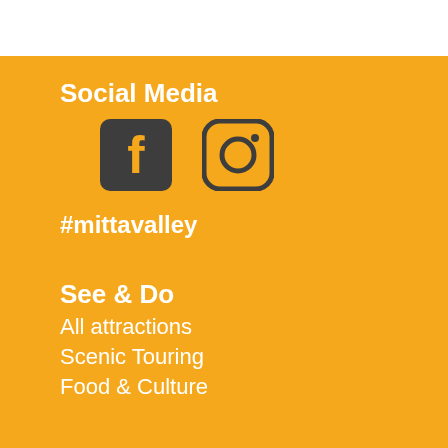Social Media
[Figure (logo): Facebook icon - dark rounded square with white 'f' letter]
[Figure (logo): Instagram icon - rounded square outline with circle and dot]
#mittavalley
See & Do
All attractions
Scenic Touring
Food & Culture